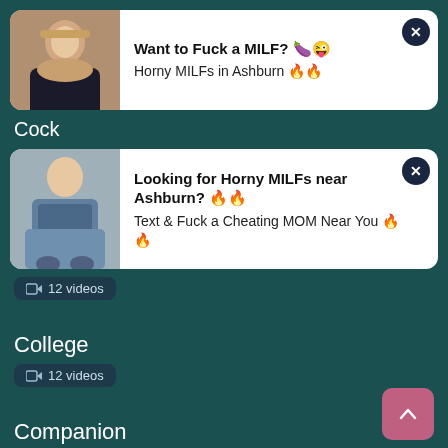[Figure (screenshot): Ad card 1: thumbnail photo of woman, with text 'Want to Fuck a MILF? Horny MILFs in Ashburn' and close button]
Cock
[Figure (screenshot): Ad card 2: thumbnail photo of woman, with text 'Looking for Horny MILFs near Ashburn? Text & Fuck a Cheating MOM Near You' and close button]
📹 12 videos
College
📹 12 videos
Companion
📹 8 videos